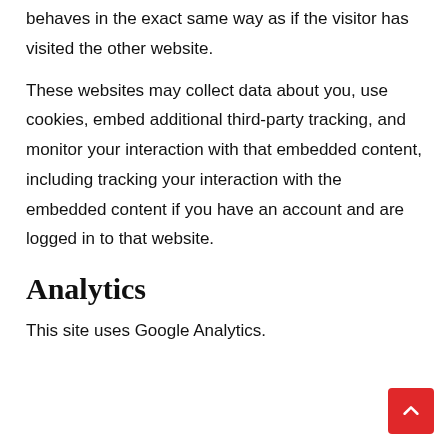behaves in the exact same way as if the visitor has visited the other website.
These websites may collect data about you, use cookies, embed additional third-party tracking, and monitor your interaction with that embedded content, including tracking your interaction with the embedded content if you have an account and are logged in to that website.
Analytics
This site uses Google Analytics.